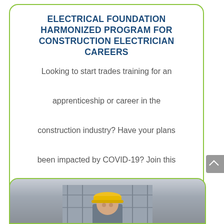ELECTRICAL FOUNDATION HARMONIZED PROGRAM FOR CONSTRUCTION ELECTRICIAN CAREERS
Looking to start trades training for an apprenticeship or career in the construction industry? Have your plans been impacted by COVID-19? Join this 20-week ITA and PTIB approved Electrical Foundations training program, to gain the knowledge and skills needed to become...
[Figure (photo): A construction worker wearing a yellow hard hat at a construction site, partially visible at bottom of page]